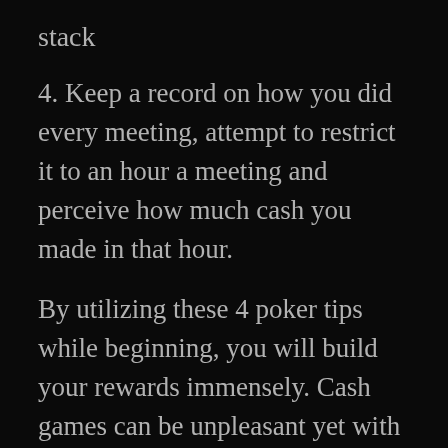stack
4. Keep a record on how you did every meeting, attempt to restrict it to an hour a meeting and perceive how much cash you made in that hour.
By utilizing these 4 poker tips while beginning, you will build your rewards immensely. Cash games can be unpleasant yet with the right discipline it tends to be perhaps the most beneficial game of all time.